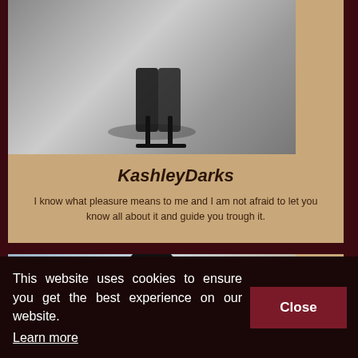[Figure (photo): High-heel black platform boots on a grey spotlight background]
KashleyDarks
I know what pleasure means to me and I am not afraid to let you know all about it and guide you trough it.
[Figure (photo): Young woman with long dark hair wearing a black dress against a blue-grey background]
This website uses cookies to ensure you get the best experience on our website. Learn more